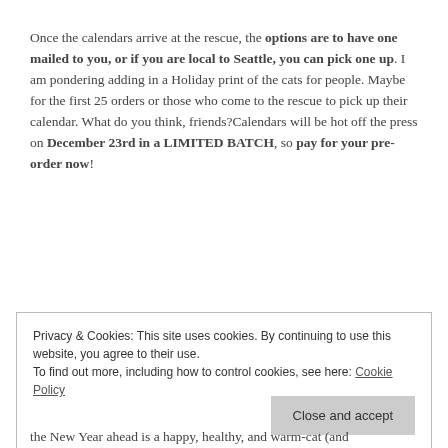Once the calendars arrive at the rescue, the options are to have one mailed to you, or if you are local to Seattle, you can pick one up. I am pondering adding in a Holiday print of the cats for people. Maybe for the first 25 orders or those who come to the rescue to pick up their calendar. What do you think, friends?Calendars will be hot off the press on December 23rd in a LIMITED BATCH, so pay for your pre-order now!
Privacy & Cookies: This site uses cookies. By continuing to use this website, you agree to their use.
To find out more, including how to control cookies, see here: Cookie Policy
Close and accept
the New Year ahead is a happy, healthy, and warm-cat (and